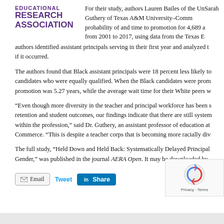[Figure (logo): American Educational Research Association logo with purple and gold text]
For their study, authors Lauren Bailes of the Un... Sarah Guthery of Texas A&M University–Comm... probability of and time to promotion for 4,689 a... from 2001 to 2017, using data from the Texas E... authors identified assistant principals serving in their first year and analyzed t... if it occurred.
The authors found that Black assistant principals were 18 percent less likely to... candidates who were equally qualified. When the Black candidates were prom... promotion was 5.27 years, while the average wait time for their White peers w...
“Even though more diversity in the teacher and principal workforce has been s... retention and student outcomes, our findings indicate that there are still system... within the profession,” said Dr. Guthery, an assistant professor of education at... Commerce. “This is despite a teacher corps that is becoming more racially div...
The full study, “Held Down and Held Back: Systematically Delayed Principal... Gender,” was published in the journal AERA Open. It may be downloaded by...